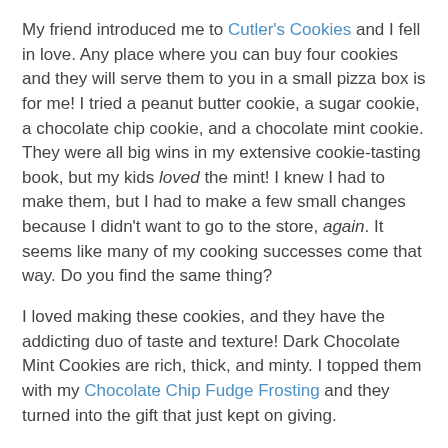My friend introduced me to Cutler's Cookies and I fell in love. Any place where you can buy four cookies and they will serve them to you in a small pizza box is for me! I tried a peanut butter cookie, a sugar cookie, a chocolate chip cookie, and a chocolate mint cookie. They were all big wins in my extensive cookie-tasting book, but my kids loved the mint! I knew I had to make them, but I had to make a few small changes because I didn't want to go to the store, again. It seems like many of my cooking successes come that way. Do you find the same thing?
I loved making these cookies, and they have the addicting duo of taste and texture! Dark Chocolate Mint Cookies are rich, thick, and minty. I topped them with my Chocolate Chip Fudge Frosting and they turned into the gift that just kept on giving.
I halved the mint frosting from the original for two reasons:
1. I didn't want them to have too much frosting and
2. I was running out of butter.